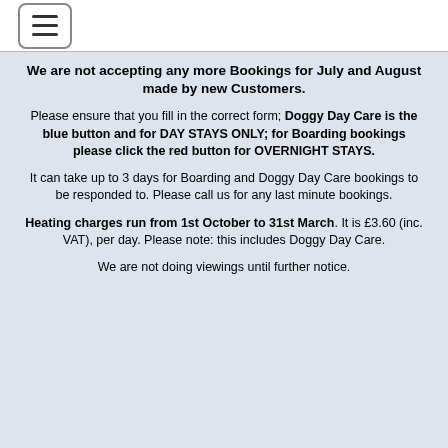[hamburger menu icon]
We are not accepting any more Bookings for July and August made by new Customers.
Please ensure that you fill in the correct form; Doggy Day Care is the blue button and for DAY STAYS ONLY; for Boarding bookings please click the red button for OVERNIGHT STAYS.
It can take up to 3 days for Boarding and Doggy Day Care bookings to be responded to. Please call us for any last minute bookings.
Heating charges run from 1st October to 31st March. It is £3.60 (inc. VAT), per day. Please note: this includes Doggy Day Care.
We are not doing viewings until further notice.